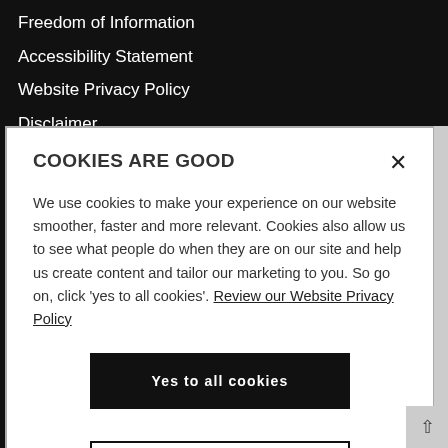Freedom of Information
Accessibility Statement
Website Privacy Policy
Disclaimer
COOKIES ARE GOOD
We use cookies to make your experience on our website smoother, faster and more relevant. Cookies also allow us to see what people do when they are on our site and help us create content and tailor our marketing to you. So go on, click 'yes to all cookies'. Review our Website Privacy Policy